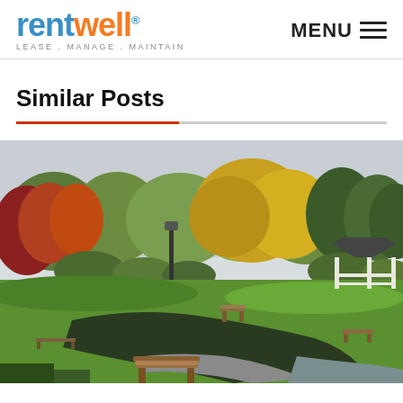rentwell LEASE . MANAGE . MAINTAIN | MENU
Similar Posts
[Figure (photo): Autumn park scene with colorful trees (red, yellow, green), a gazebo on the right, park benches, winding path, and green lawn in the foreground]